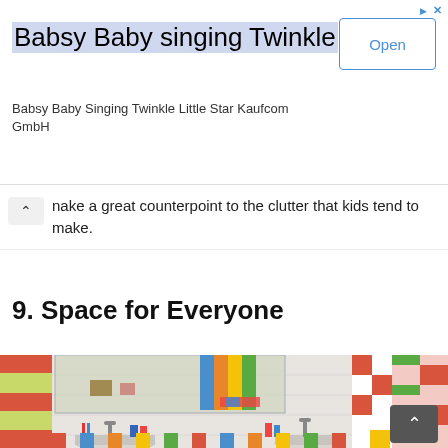[Figure (other): Advertisement banner for 'Babsy Baby singing Twinkle' app by Kaufcom GmbH with an Open button]
make a great counterpoint to the clutter that kids tend to make.
9. Space for Everyone
[Figure (photo): Colorful kids bathroom with multicolored tiles (blue, orange, yellow, green, red), mirror, two sinks, and toiletries]